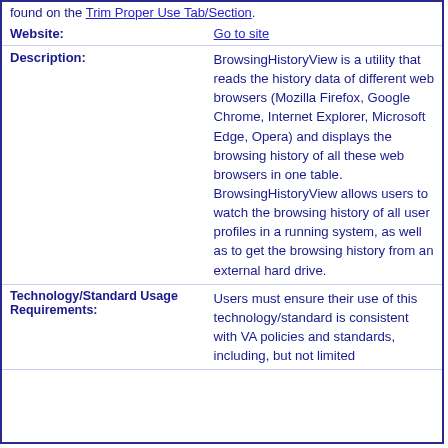found on the Trim Proper Use Tab/Section.
| Website: | Go to site |
| Description: | BrowsingHistoryView is a utility that reads the history data of different web browsers (Mozilla Firefox, Google Chrome, Internet Explorer, Microsoft Edge, Opera) and displays the browsing history of all these web browsers in one table. BrowsingHistoryView allows users to watch the browsing history of all user profiles in a running system, as well as to get the browsing history from an external hard drive. |
| Technology/Standard Usage Requirements: | Users must ensure their use of this technology/standard is consistent with VA policies and standards, including, but not limited |